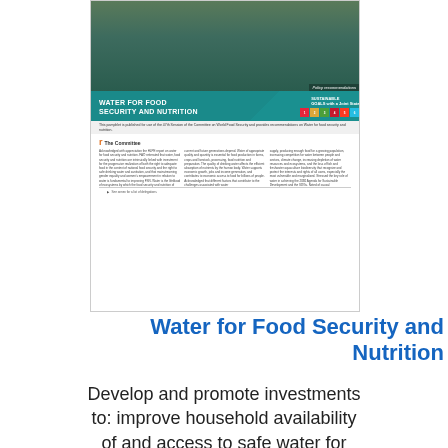[Figure (illustration): Thumbnail of a policy recommendations document titled 'Water for Food Security and Nutrition' with teal banner, SDG goal icons, a photo of water/nature at the top, and small text columns describing The Committee's work.]
Water for Food Security and Nutrition
Develop and promote investments to: improve household availability of and access to safe water for drinking and sanitation; reduce the drudgery and burden of water